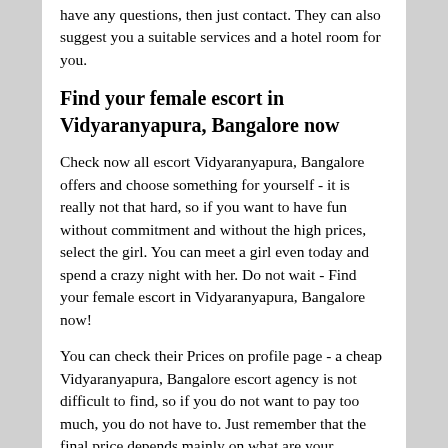Vidyaranyapura, Bangalore escort profile. If you have any questions, then just contact. They can also suggest you a suitable services and a hotel room for you.
Find your female escort in Vidyaranyapura, Bangalore now
Check now all escort Vidyaranyapura, Bangalore offers and choose something for yourself - it is really not that hard, so if you want to have fun without commitment and without the high prices, select the girl. You can meet a girl even today and spend a crazy night with her. Do not wait - Find your female escort in Vidyaranyapura, Bangalore now!
You can check their Prices on profile page - a cheap Vidyaranyapura, Bangalore escort agency is not difficult to find, so if you do not want to pay too much, you do not have to. Just remember that the final price depends mainly on what are your requirements. If there are specific, Also, the price depends on the time spent with the girl - you can select one hour, two hours or three hours or